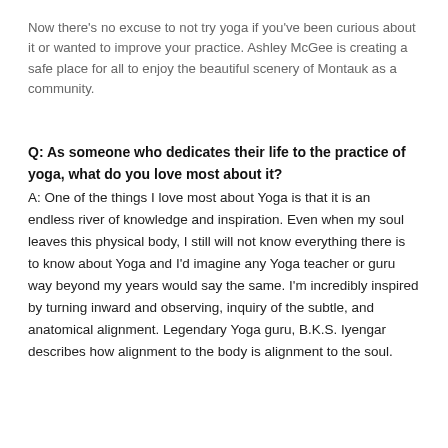Now there's no excuse to not try yoga if you've been curious about it or wanted to improve your practice. Ashley McGee is creating a safe place for all to enjoy the beautiful scenery of Montauk as a community.
Q: As someone who dedicates their life to the practice of yoga, what do you love most about it? A: One of the things I love most about Yoga is that it is an endless river of knowledge and inspiration. Even when my soul leaves this physical body, I still will not know everything there is to know about Yoga and I'd imagine any Yoga teacher or guru way beyond my years would say the same. I'm incredibly inspired by turning inward and observing, inquiry of the subtle, and anatomical alignment. Legendary Yoga guru, B.K.S. Iyengar describes how alignment to the body is alignment to the soul.